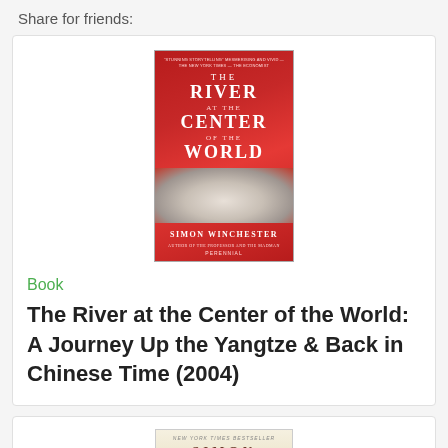Share for friends:
[Figure (photo): Book cover of 'The River at the Center of the World' by Simon Winchester. Red cover with dramatic fabric fold imagery and white title text.]
Book
The River at the Center of the World: A Journey Up the Yangtze & Back in Chinese Time (2004)
[Figure (photo): Partial book cover showing New York Times Bestseller label and author name SIMON in gold/beige tones.]